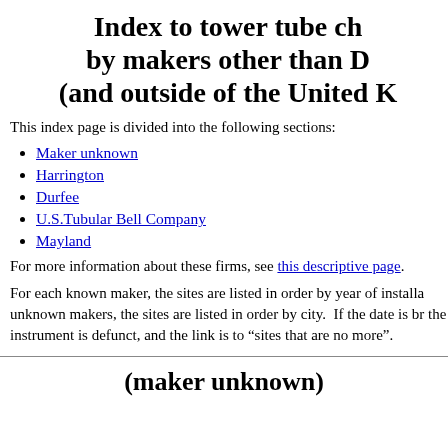Index to tower tube ch by makers other than D (and outside of the United K
This index page is divided into the following sections:
Maker unknown
Harrington
Durfee
U.S.Tubular Bell Company
Mayland
For more information about these firms, see this descriptive page.
For each known maker, the sites are listed in order by year of installa unknown makers, the sites are listed in order by city.  If the date is br the instrument is defunct, and the link is to "sites that are no more".
(maker unknown)